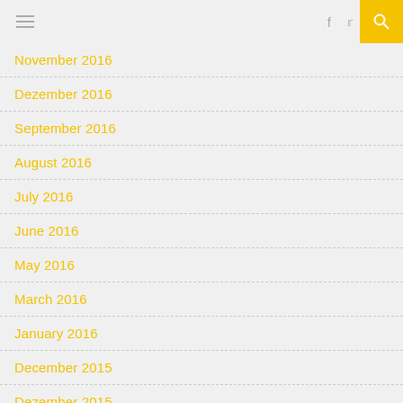Navigation bar with hamburger menu, social icons (f, Twitter), and search button
November 2016
Dezember 2016
September 2016
August 2016
July 2016
June 2016
May 2016
March 2016
January 2016
December 2015
Dezember 2015
June 2015